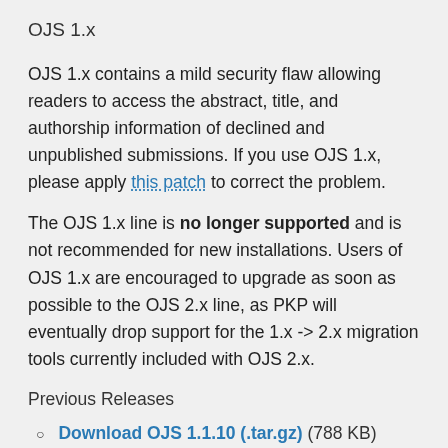OJS 1.x
OJS 1.x contains a mild security flaw allowing readers to access the abstract, title, and authorship information of declined and unpublished submissions. If you use OJS 1.x, please apply this patch to correct the problem.
The OJS 1.x line is no longer supported and is not recommended for new installations. Users of OJS 1.x are encouraged to upgrade as soon as possible to the OJS 2.x line, as PKP will eventually drop support for the 1.x -> 2.x migration tools currently included with OJS 2.x.
Previous Releases
Download OJS 1.1.10 (.tar.gz) (788 KB)
Download OJS 1.1.9 (.tar.gz) (788 KB)
Download OJS 1.1.8 (.tar.gz) (658 KB)